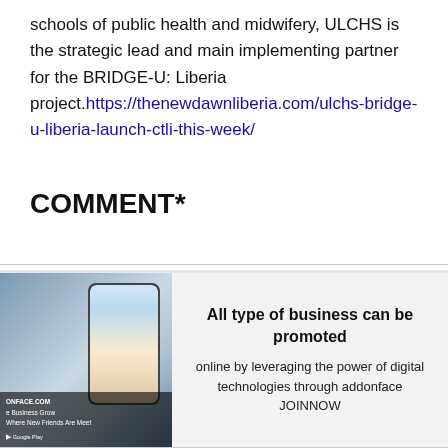schools of public health and midwifery, ULCHS is the strategic lead and main implementing partner for the BRIDGE-U: Liberia project. https://thenewdawnliberia.com/ulchs-bridge-u-liberia-launch-ctli-this-week/
COMMENT*
[Figure (photo): A hand holding a smartphone displaying food images, with addonface.com branding overlay]
All type of business can be promoted
online by leveraging the power of digital technologies through addonface JOINNOW
[Figure (photo): Partial image visible at bottom of page]
An Act To Amend and/or Nullify